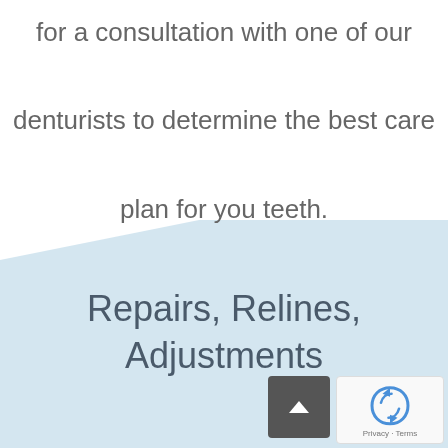for a consultation with one of our denturists to determine the best care plan for you teeth.
[Figure (illustration): Light blue diagonal triangle/wedge shape occupying the lower-right portion of the page background]
Repairs, Relines, Adjustments